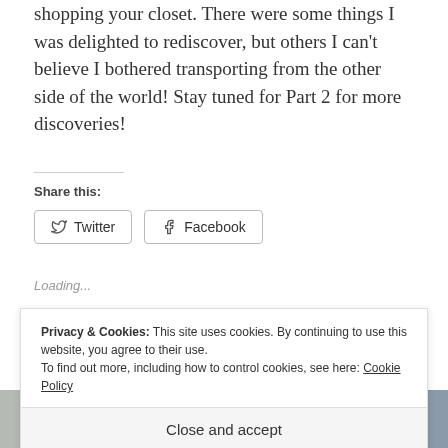shopping your closet. There were some things I was delighted to rediscover, but others I can't believe I bothered transporting from the other side of the world! Stay tuned for Part 2 for more discoveries!
Share this:
Twitter
Facebook
Loading...
Privacy & Cookies: This site uses cookies. By continuing to use this website, you agree to their use. To find out more, including how to control cookies, see here: Cookie Policy
Close and accept
[Figure (photo): Two partial thumbnail images at the bottom of the page, left showing a floral pattern garment and right showing a person in jeans.]